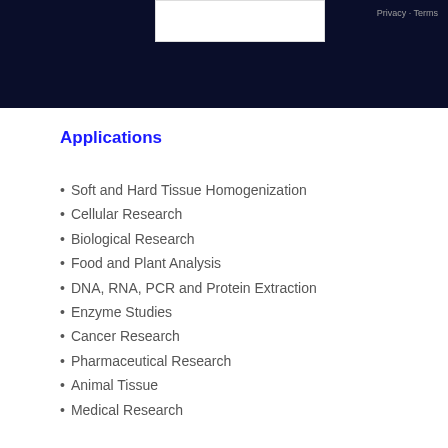Privacy - Terms
Applications
Soft and Hard Tissue Homogenization
Cellular Research
Biological Research
Food and Plant Analysis
DNA, RNA, PCR and Protein Extraction
Enzyme Studies
Cancer Research
Pharmaceutical Research
Animal Tissue
Medical Research